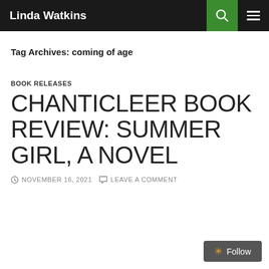Linda Watkins
Tag Archives: coming of age
BOOK RELEASES
CHANTICLEER BOOK REVIEW: SUMMER GIRL, A NOVEL
NOVEMBER 16, 2021  LEAVE A COMMENT
Follow